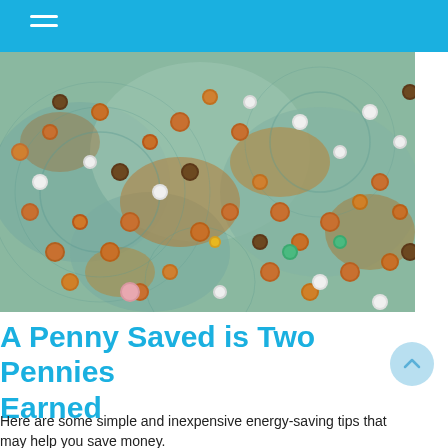[Figure (photo): Close-up photograph of many coins (pennies, dimes, and other coins) scattered on a surface with rust and teal/green patina, giving a colorful mosaic-like appearance.]
A Penny Saved is Two Pennies Earned
Here are some simple and inexpensive energy-saving tips that may help you save money.